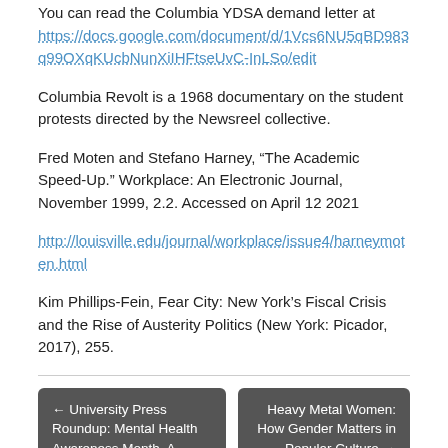You can read the Columbia YDSA demand letter at https://docs.google.com/document/d/1Vcs6NU5qBD983q99OXqKUcbNunXiIHFtseUvC-InLSo/edit
Columbia Revolt is a 1968 documentary on the student protests directed by the Newsreel collective.
Fred Moten and Stefano Harney, “The Academic Speed-Up.” Workplace: An Electronic Journal, November 1999, 2.2. Accessed on April 12 2021
http://louisville.edu/journal/workplace/issue4/harneymoten.html
Kim Phillips-Fein, Fear City: New York’s Fiscal Crisis and the Rise of Austerity Politics (New York: Picador, 2017), 255.
← University Press Roundup: Mental Health Awareness Month, A Tribute to Theodore Margellos and Thomas Nail’s Theory of the
Heavy Metal Women: How Gender Matters in Popular Culture →